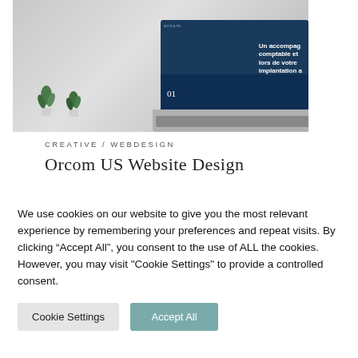[Figure (photo): Photo of a laptop with a blue website displayed on screen, two small potted plants on a white desk surface, gray background.]
CREATIVE / WEBDESIGN
Orcom US Website Design
We use cookies on our website to give you the most relevant experience by remembering your preferences and repeat visits. By clicking “Accept All”, you consent to the use of ALL the cookies. However, you may visit "Cookie Settings" to provide a controlled consent.
Cookie Settings
Accept All